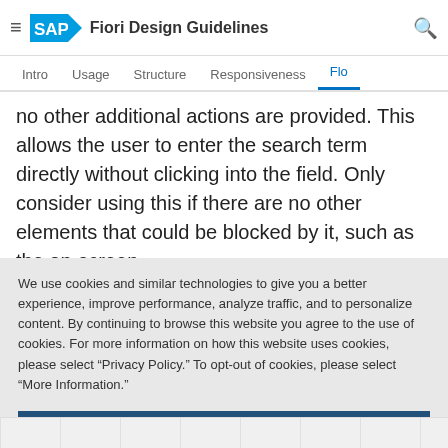SAP Fiori Design Guidelines
Intro  Usage  Structure  Responsiveness  Flo
no other additional actions are provided. This allows the user to enter the search term directly without clicking into the field. Only consider using this if there are no other elements that could be blocked by it, such as the on-screen
We use cookies and similar technologies to give you a better experience, improve performance, analyze traffic, and to personalize content. By continuing to browse this website you agree to the use of cookies. For more information on how this website uses cookies, please select “Privacy Policy.” To opt-out of cookies, please select “More Information.”
Accept Cookies
More Information
Privacy Policy | Powered by:  TrustArc